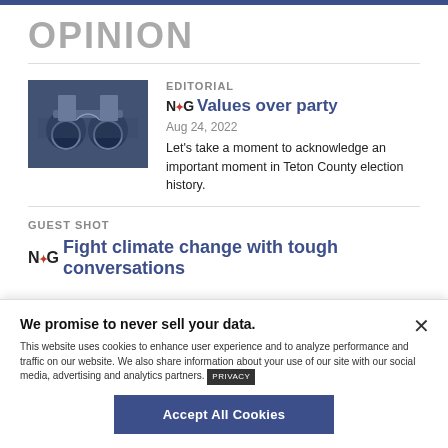OPINION
EDITORIAL
Values over party
Aug 24, 2022
Let's take a moment to acknowledge an important moment in Teton County election history.
GUEST SHOT
Fight climate change with tough conversations
We promise to never sell your data.
This website uses cookies to enhance user experience and to analyze performance and traffic on our website. We also share information about your use of our site with our social media, advertising and analytics partners.
Accept All Cookies